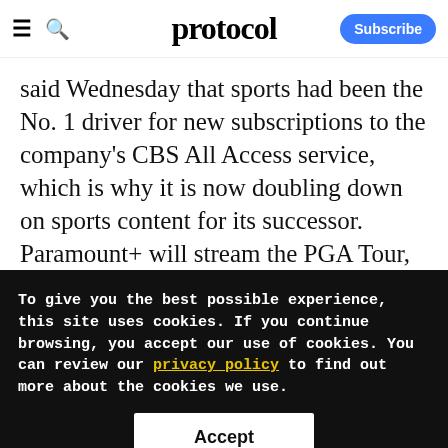protocol — Subscribe
said Wednesday that sports had been the No. 1 driver for new subscriptions to the company's CBS All Access service, which is why it is now doubling down on sports content for its successor. Paramount+ will stream the PGA Tour, March Madness, the NFL, UEFA soccer matches, U.S. Women's Soccer and more
To give you the best possible experience, this site uses cookies. If you continue browsing, you accept our use of cookies. You can review our privacy policy to find out more about the cookies we use.
Accept